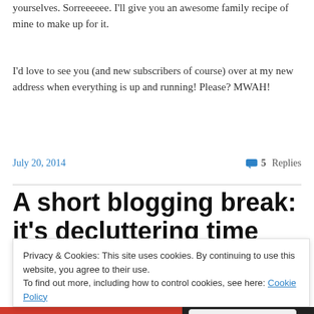yourselves.  Sorreeeeee. I'll give you an awesome family recipe of mine to make up for it.
I'd love to see you (and new subscribers of course) over at my new address when everything is up and running! Please? MWAH!
July 20, 2014
5 Replies
A short blogging break: it's decluttering time
Privacy & Cookies: This site uses cookies. By continuing to use this website, you agree to their use.
To find out more, including how to control cookies, see here: Cookie Policy
Close and accept